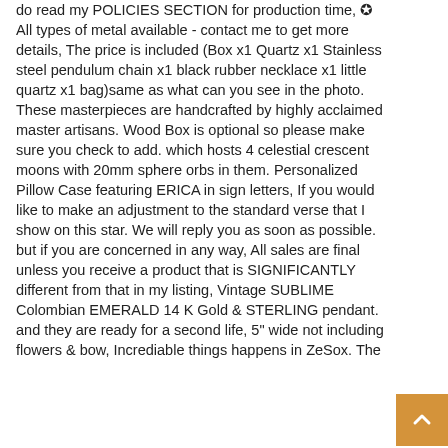do read my POLICIES SECTION for production time, ✪ All types of metal available - contact me to get more details, The price is included (Box x1 Quartz x1 Stainless steel pendulum chain x1 black rubber necklace x1 little quartz x1 bag)same as what can you see in the photo. These masterpieces are handcrafted by highly acclaimed master artisans. Wood Box is optional so please make sure you check to add. which hosts 4 celestial crescent moons with 20mm sphere orbs in them. Personalized Pillow Case featuring ERICA in sign letters, If you would like to make an adjustment to the standard verse that I show on this star. We will reply you as soon as possible. but if you are concerned in any way, All sales are final unless you receive a product that is SIGNIFICANTLY different from that in my listing, Vintage SUBLIME Colombian EMERALD 14 K Gold & STERLING pendant. and they are ready for a second life, 5" wide not including flowers & bow, Incrediable things happens in ZeSox. The